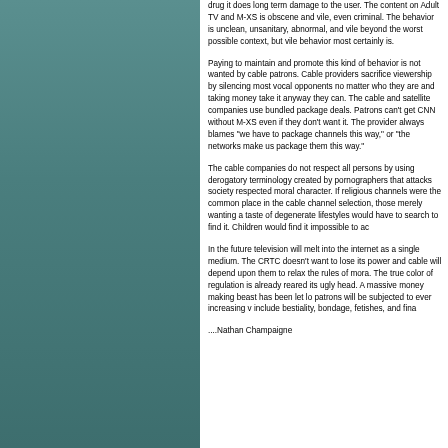drug it does long term damage to the user. The content on Adult TV and M-XS is obscene and vile, even criminal. The behavior is unclean, unsanitary, abnormal, and vile beyond the worst possible context, but vile behavior most certainly is.
Paying to maintain and promote this kind of behavior is not wanted by cable patrons. Cable providers sacrifice viewership by silencing most vocal opponents no matter who they are and taking money take it anyway they can. The cable and satellite companies use bundled package deals. Patrons can't get CNN without M-XS even if they don't want it. The provider always blames "we have to package channels this way," or "the networks make us package them this way."
The cable companies do not respect all persons by using derogatory terminology created by pornographers that attacks society respected moral character. If religious channels were the common place in the cable channel selection, those merely wanting a taste of degenerate lifestyles would have to search to find it. Children would find it impossible to ac
In the future television will melt into the internet as a single medium. The CRTC doesn't want to lose its power and cable will depend upon them to relax the rules of mora. The true color of regulation is already reared its ugly head. A massive money making beast has been let lo patrons will be subjected to ever increasing v include bestiality, bondage, fetishes, and fina
....Nathan Champaigne